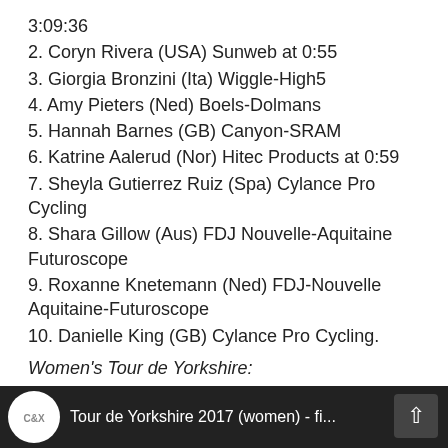3:09:36
2. Coryn Rivera (USA) Sunweb at 0:55
3. Giorgia Bronzini (Ita) Wiggle-High5
4. Amy Pieters (Ned) Boels-Dolmans
5. Hannah Barnes (GB) Canyon-SRAM
6. Katrine Aalerud (Nor) Hitec Products at 0:59
7. Sheyla Gutierrez Ruiz (Spa) Cylance Pro Cycling
8. Shara Gillow (Aus) FDJ Nouvelle-Aquitaine Futuroscope
9. Roxanne Knetemann (Ned) FDJ-Nouvelle Aquitaine-Futuroscope
10. Danielle King (GB) Cylance Pro Cycling.
Women’s Tour de Yorkshire:
[Figure (screenshot): Video thumbnail bar showing Tour de Yorkshire 2017 (women) - fi... with a logo icon on dark background]